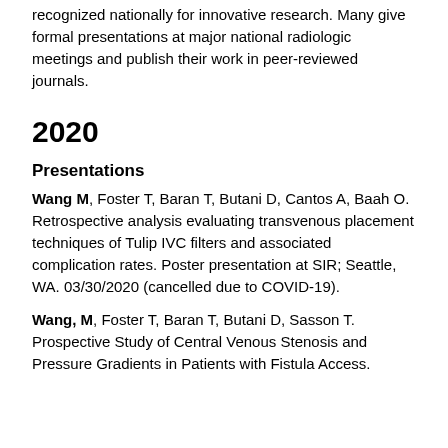recognized nationally for innovative research. Many give formal presentations at major national radiologic meetings and publish their work in peer-reviewed journals.
2020
Presentations
Wang M, Foster T, Baran T, Butani D, Cantos A, Baah O. Retrospective analysis evaluating transvenous placement techniques of Tulip IVC filters and associated complication rates. Poster presentation at SIR; Seattle, WA. 03/30/2020 (cancelled due to COVID-19).
Wang, M, Foster T, Baran T, Butani D, Sasson T. Prospective Study of Central Venous Stenosis and Pressure Gradients in Patients with Fistula Access.